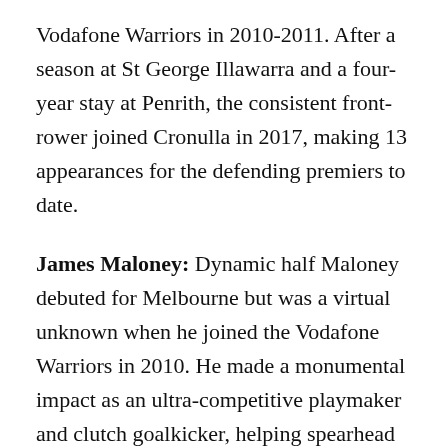Vodafone Warriors in 2010-2011. After a season at St George Illawarra and a four-year stay at Penrith, the consistent front-rower joined Cronulla in 2017, making 13 appearances for the defending premiers to date.
James Maloney: Dynamic half Maloney debuted for Melbourne but was a virtual unknown when he joined the Vodafone Warriors in 2010. He made a monumental impact as an ultra-competitive playmaker and clutch goalkicker, helping spearhead the club's drive to the 2011 grand final. He moved to Bondi Junction in 2013 was outstanding in the Roosters' premiership triumph, scoring 252